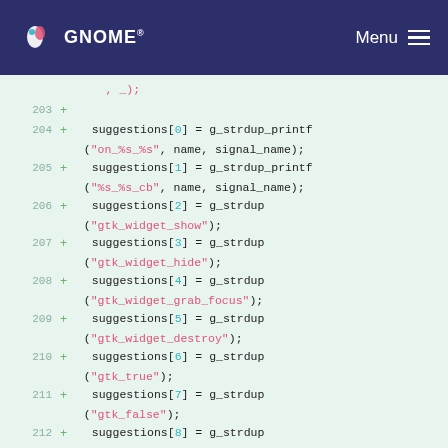GNOME Menu
[Figure (screenshot): GNOME documentation website navbar with GNOME logo and Menu button]
Code diff showing lines 203-212 with suggestions array assignments using g_strdup_printf and g_strdup functions in C
203  +
204  +    suggestions[0] = g_strdup_printf ("on_%s_%s", name, signal_name);
205  +    suggestions[1] = g_strdup_printf ("%s_%s_cb", name, signal_name);
206  +    suggestions[2] = g_strdup ("gtk_widget_show");
207  +    suggestions[3] = g_strdup ("gtk_widget_hide");
208  +    suggestions[4] = g_strdup ("gtk_widget_grab_focus");
209  +    suggestions[5] = g_strdup ("gtk_widget_destroy");
210  +    suggestions[6] = g_strdup ("gtk_true");
211  +    suggestions[7] = g_strdup ("gtk_false");
212  +    suggestions[8] = g_strdup ("gtk_main_quit");